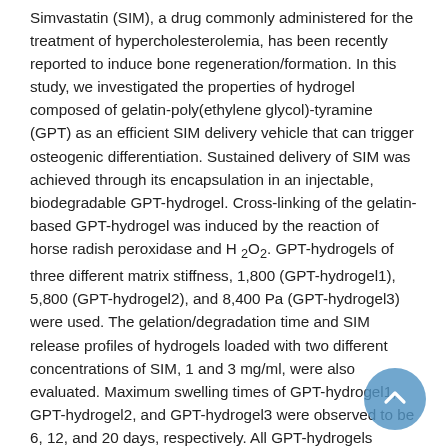Simvastatin (SIM), a drug commonly administered for the treatment of hypercholesterolemia, has been recently reported to induce bone regeneration/formation. In this study, we investigated the properties of hydrogel composed of gelatin-poly(ethylene glycol)-tyramine (GPT) as an efficient SIM delivery vehicle that can trigger osteogenic differentiation. Sustained delivery of SIM was achieved through its encapsulation in an injectable, biodegradable GPT-hydrogel. Cross-linking of the gelatin-based GPT-hydrogel was induced by the reaction of horse radish peroxidase and H 2O2. GPT-hydrogels of three different matrix stiffness, 1,800 (GPT-hydrogel1), 5,800 (GPT-hydrogel2), and 8,400 Pa (GPT-hydrogel3) were used. The gelation/degradation time and SIM release profiles of hydrogels loaded with two different concentrations of SIM, 1 and 3 mg/ml, were also evaluated. Maximum swelling times of GPT-hydrogel1, GPT-hydrogel2, and GPT-hydrogel3 were observed to be 6, 12, and 20 days, respectively. All GPT-hydrogels showed complete degradation within 55 days. The in vitro SIM release profiles, investigated in PBS buffer (pH 7.4) at 37 C, exhibited typical biphasic release patterns with the initial burst being more rapid with GPT-hydrogel1 compared with GPT-hydrogel3. Substantial increase in matrix metalloproteinase-13, osteocalcin expression levels, and mineralization were seen in osteogenic differentiation